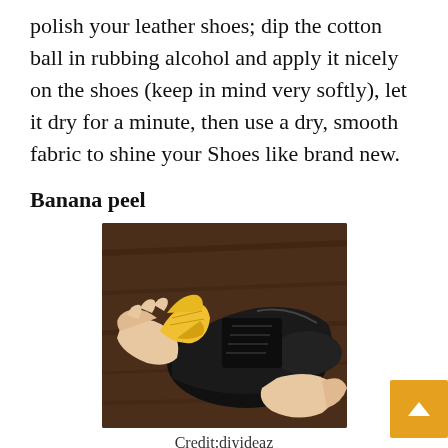polish your leather shoes; dip the cotton ball in rubbing alcohol and apply it nicely on the shoes (keep in mind very softly), let it dry for a minute, then use a dry, smooth fabric to shine your Shoes like brand new.
Banana peel
[Figure (photo): Hands using a yellow banana peel to polish a black leather dress shoe on a wooden surface]
Credit:diyideaz
Banana Peel is a natural organic shoe polish because it bears potassium, the main element in all common